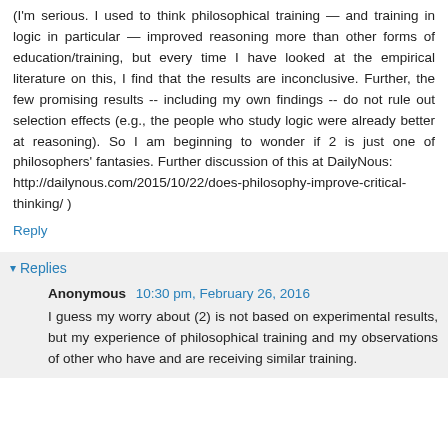(I'm serious. I used to think philosophical training — and training in logic in particular — improved reasoning more than other forms of education/training, but every time I have looked at the empirical literature on this, I find that the results are inconclusive. Further, the few promising results -- including my own findings -- do not rule out selection effects (e.g., the people who study logic were already better at reasoning). So I am beginning to wonder if 2 is just one of philosophers' fantasies. Further discussion of this at DailyNous: http://dailynous.com/2015/10/22/does-philosophy-improve-critical-thinking/ )
Reply
Replies
Anonymous 10:30 pm, February 26, 2016
I guess my worry about (2) is not based on experimental results, but my experience of philosophical training and my observations of other who have and are receiving similar training.